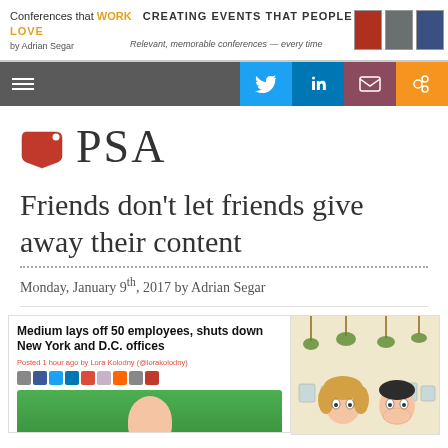Conferences that WORK — CREATING EVENTS THAT PEOPLE LOVE by Adrian Segar — Relevant, memorable conferences — every time
[Figure (screenshot): Navigation bar with hamburger menu and social media icons for Twitter, LinkedIn, Email, RSS]
PSA
Friends don't let friends give away their content
Monday, January 9th, 2017 by Adrian Segar
[Figure (screenshot): Screenshot showing Medium lays off 50 employees, shuts down New York and D.C. offices article with cartoon illustration]